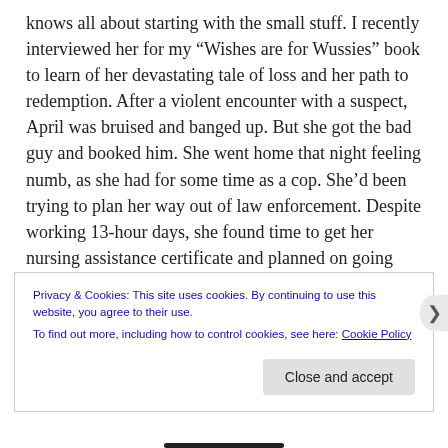knows all about starting with the small stuff. I recently interviewed her for my “Wishes are for Wussies” book to learn of her devastating tale of loss and her path to redemption. After a violent encounter with a suspect, April was bruised and banged up. But she got the bad guy and booked him. She went home that night feeling numb, as she had for some time as a cop. She’d been trying to plan her way out of law enforcement. Despite working 13-hour days, she found time to get her nursing assistance certificate and planned on going back to school to be a physician’s assistant.
Privacy & Cookies: This site uses cookies. By continuing to use this website, you agree to their use.
To find out more, including how to control cookies, see here: Cookie Policy
Close and accept